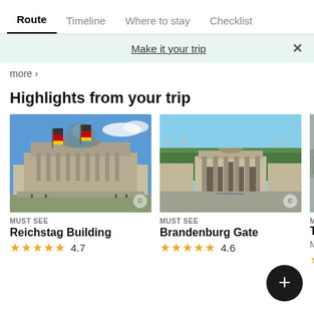Route | Timeline | Where to stay | Checklist
Make it your trip
more →
Highlights from your trip
[Figure (photo): Reichstag Building exterior with German flags]
MUST SEE
Reichstag Building
★★★★★ 4.7
[Figure (photo): Brandenburg Gate aerial view]
MUST SEE
Brandenburg Gate
★★★★½ 4.6